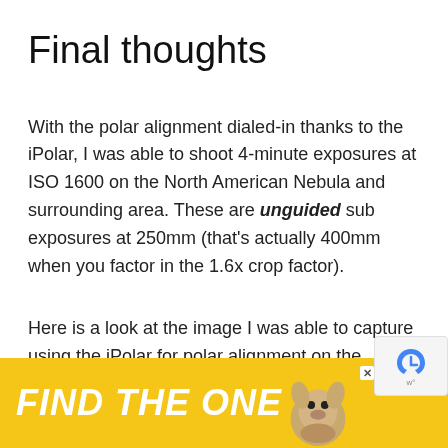Final thoughts
With the polar alignment dialed-in thanks to the iPolar, I was able to shoot 4-minute exposures at ISO 1600 on the North American Nebula and surrounding area. These are unguided sub exposures at 250mm (that's actually 400mm when you factor in the 1.6x crop factor).
Here is a look at the image I was able to capture using the iPolar for polar alignment on the iOptron SkyGuider Pro:
[Figure (screenshot): Advertisement banner with yellow background reading FIND THE ONE with a dog image and an X close button]